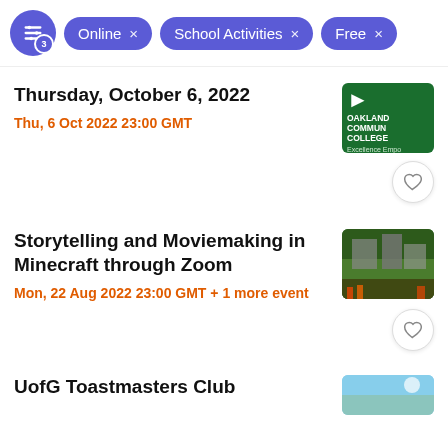Online × School Activities × Free ×
Thursday, October 6, 2022
Thu, 6 Oct 2022 23:00 GMT
[Figure (photo): Oakland Community College logo on green background with arrow]
Storytelling and Moviemaking in Minecraft through Zoom
Mon, 22 Aug 2022 23:00 GMT + 1 more event
[Figure (photo): Minecraft game scene with buildings and characters]
UofG Toastmasters Club
[Figure (photo): Outdoor scene with sky background]